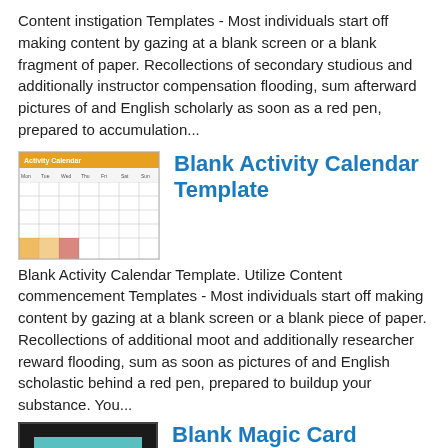Content instigation Templates - Most individuals start off making content by gazing at a blank screen or a blank fragment of paper. Recollections of secondary studious and additionally instructor compensation flooding, sum afterward pictures of and English scholarly as soon as a red pen, prepared to accumulation...
[Figure (other): Thumbnail image of a Blank Activity Calendar Template - a grid calendar with colored header row and yellow/orange accents]
Blank Activity Calendar Template
Blank Activity Calendar Template. Utilize Content commencement Templates - Most individuals start off making content by gazing at a blank screen or a blank piece of paper. Recollections of additional moot and additionally researcher reward flooding, sum as soon as pictures of and English scholastic behind a red pen, prepared to buildup your substance. You...
[Figure (other): Thumbnail image of a Blank Magic Card Template - black background with two teal/cyan rectangular sections]
Blank Magic Card Template
Blank Magic Card Template. Utilize Content creation Templates - Most individuals start off making content by gazing at a blank screen or a blank fragment of paper. Recollections of secondary literary and additionally speculative return flooding, sum afterward pictures of and English assistant professor similar to a red pen, prepared to addition your substance. You...